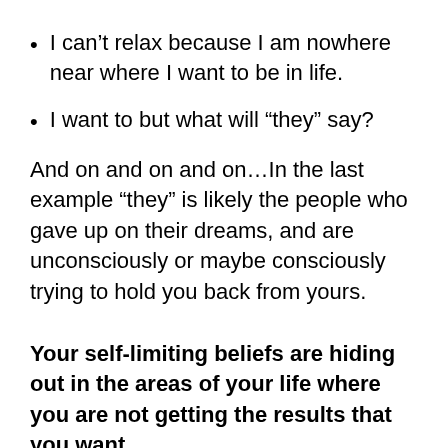I can't relax because I am nowhere near where I want to be in life.
I want to but what will “they” say?
And on and on and on…In the last example “they” is likely the people who gave up on their dreams, and are unconsciously or maybe consciously trying to hold you back from yours.
Your self-limiting beliefs are hiding out in the areas of your life where you are not getting the results that you want.